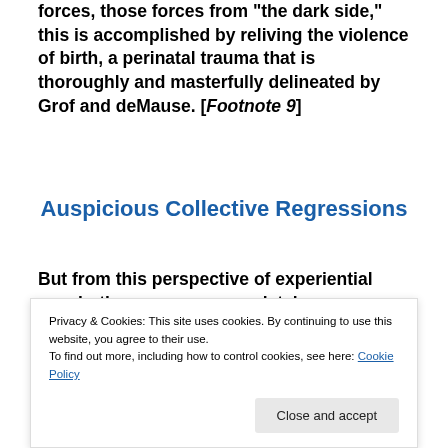forces, those forces from “the dark side,” this is accomplished by reliving the violence of birth, a perinatal trauma that is thoroughly and masterfully delineated by Grof and deMause. [Footnote 9]
Auspicious Collective Regressions
But from this perspective of experiential psychotherapy—one completely
[Figure (photo): Dark photograph showing a person's head/face partially visible against a black background, with a red element at the bottom.]
Privacy & Cookies: This site uses cookies. By continuing to use this website, you agree to their use.
To find out more, including how to control cookies, see here: Cookie Policy
Close and accept